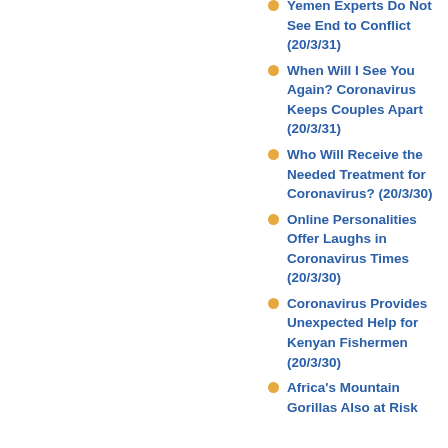Yemen Experts Do Not See End to Conflict (20/3/31)
When Will I See You Again? Coronavirus Keeps Couples Apart (20/3/31)
Who Will Receive the Needed Treatment for Coronavirus? (20/3/30)
Online Personalities Offer Laughs in Coronavirus Times (20/3/30)
Coronavirus Provides Unexpected Help for Kenyan Fishermen (20/3/30)
Africa's Mountain Gorillas Also at Risk